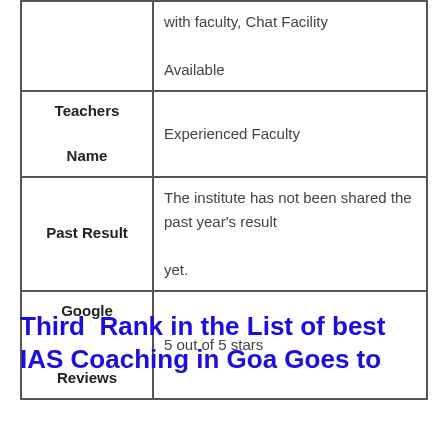|  |  |
| --- | --- |
|  | with faculty, Chat Facility

Available |
| Teachers Name | Experienced Faculty |
| Past Result | The institute has not been shared the past year's result yet. |
| Google Reviews | 5 out of 5 stars |
Third  Rank in the List of best IAS Coaching in Goa Goes to